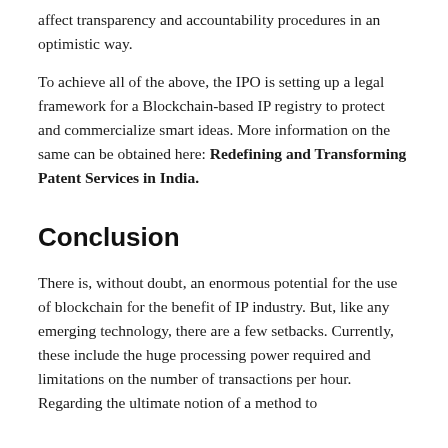affect transparency and accountability procedures in an optimistic way.
To achieve all of the above, the IPO is setting up a legal framework for a Blockchain-based IP registry to protect and commercialize smart ideas. More information on the same can be obtained here: Redefining and Transforming Patent Services in India.
Conclusion
There is, without doubt, an enormous potential for the use of blockchain for the benefit of IP industry. But, like any emerging technology, there are a few setbacks. Currently, these include the huge processing power required and limitations on the number of transactions per hour. Regarding the ultimate notion of a method to